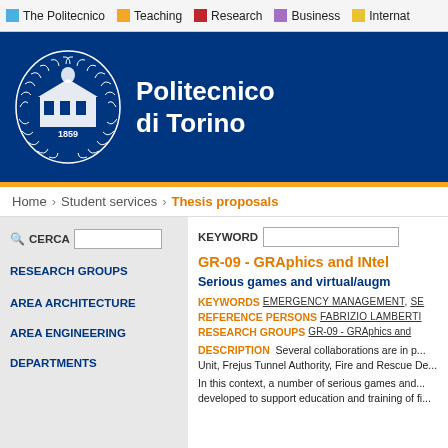The Politecnico | Teaching | Research | Business | Internat...
[Figure (logo): Politecnico di Torino logo seal with building and 1859, white on navy background, with text 'Politecnico di Torino']
Home > Student services > Thesis proposals
CERCA [search box]   KEYWORD [search box]
GR-09 - GRAphics and INtel...
Serious games and virtual/augm...
KEYWORDS   EMERGENCY MANAGEMENT, SE...
REFERENCE PERSONS   FABRIZIO LAMBERTI...
RESEARCH GROUPS   GR-09 - GRAphics and...
DESCRIPTION   Several collaborations are in p... Unit, Frejus Tunnel Authority, Fire and Rescue De...
In this context, a number of serious games and... developed to support education and training of fi...
RESEARCH GROUPS
AREA ARCHITECTURE
AREA ENGINEERING
DEPARTMENTS